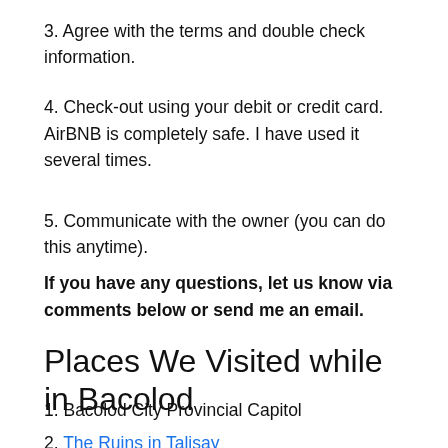3. Agree with the terms and double check information.
4. Check-out using your debit or credit card. AirBNB is completely safe. I have used it several times.
5. Communicate with the owner (you can do this anytime).
If you have any questions, let us know via comments below or send me an email.
Places We Visited while in Bacolod
1. Bacolod City Provincial Capitol
2. The Ruins in Talisay